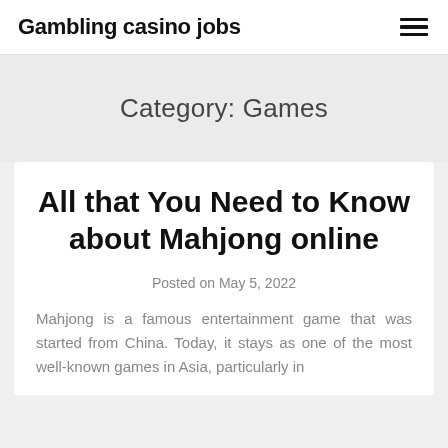Gambling casino jobs
Category: Games
All that You Need to Know about Mahjong online
Posted on May 5, 2022
Mahjong is a famous entertainment game that was started from China. Today, it stays as one of the most well-known games in Asia, particularly in